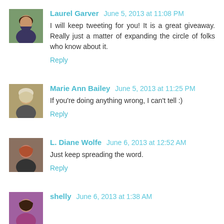[Figure (photo): Avatar photo of Laurel Garver, woman smiling outdoors]
Laurel Garver  June 5, 2013 at 11:08 PM
I will keep tweeting for you! It is a great giveaway. Really just a matter of expanding the circle of folks who know about it.
Reply
[Figure (photo): Avatar photo of Marie Ann Bailey, woman with light hair]
Marie Ann Bailey  June 5, 2013 at 11:25 PM
If you're doing anything wrong, I can't tell :)
Reply
[Figure (photo): Avatar photo of L. Diane Wolfe, woman with auburn hair]
L. Diane Wolfe  June 6, 2013 at 12:52 AM
Just keep spreading the word.
Reply
[Figure (photo): Avatar photo of shelly, woman with dark hair]
shelly  June 6, 2013 at 1:38 AM